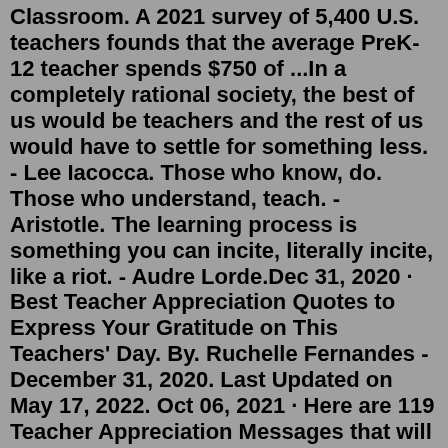Classroom. A 2021 survey of 5,400 U.S. teachers founds that the average PreK-12 teacher spends $750 of ...In a completely rational society, the best of us would be teachers and the rest of us would have to settle for something less. - Lee Iacocca. Those who know, do. Those who understand, teach. - Aristotle. The learning process is something you can incite, literally incite, like a riot. - Audre Lorde.Dec 31, 2020 · Best Teacher Appreciation Quotes to Express Your Gratitude on This Teachers' Day. By. Ruchelle Fernandes - December 31, 2020. Last Updated on May 17, 2022. Oct 06, 2021 · Here are 119 Teacher Appreciation Messages that will Show Your Teacher How Grateful You Are: 1. Dear teacher, you not only gave me information, but you also taught me to ask questions to reach information, these were the best gifts I've ever received, thank you very much. 2. If I love my job, I owe it to you, my dear teacher, thanks to you, I ... Jul 08, 2022 · Teachers have thousands of people who remember them for the rest of their lives.". — Andy Rooney. "Teachers can change lives